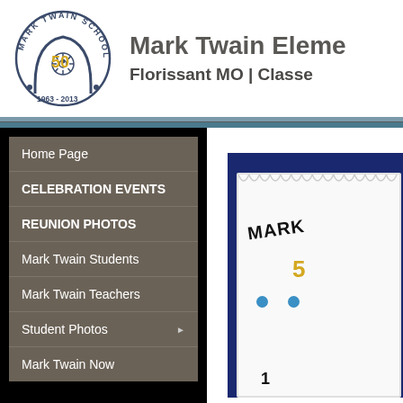[Figure (logo): Mark Twain School 50th anniversary circular logo with ship wheel, arch, and years 1963-2013]
Mark Twain Eleme
Florissant MO | Classe
Home Page
CELEBRATION EVENTS
REUNION PHOTOS
Mark Twain Students
Mark Twain Teachers
Student Photos
Mark Twain Now
[Figure (photo): Close-up photo of a white celebration cake with Mark Twain 50th anniversary decoration on a dark blue background]